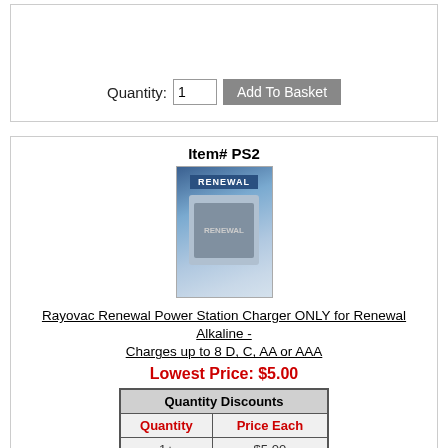Quantity: 1  Add To Basket
Item# PS2
[Figure (photo): Rayovac Renewal Power Station Charger product image in packaging]
Rayovac Renewal Power Station Charger ONLY for Renewal Alkaline - Charges up to 8 D, C, AA or AAA
Lowest Price: $5.00
| Quantity Discounts |
| --- |
| Quantity | Price Each |
| 1+ | $5.00 |
Quantity: 1  Add To Basket